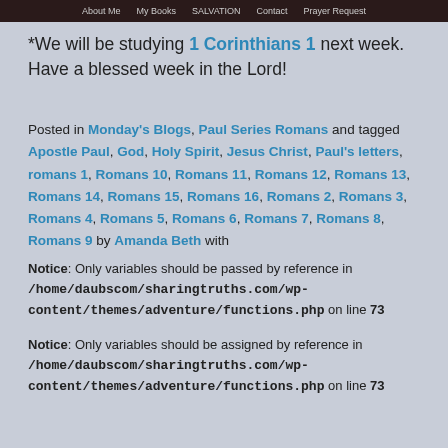About Me | My Books | SALVATION | Contact | Prayer Request
*We will be studying 1 Corinthians 1 next week. Have a blessed week in the Lord!
Posted in Monday's Blogs, Paul Series Romans and tagged Apostle Paul, God, Holy Spirit, Jesus Christ, Paul's letters, romans 1, Romans 10, Romans 11, Romans 12, Romans 13, Romans 14, Romans 15, Romans 16, Romans 2, Romans 3, Romans 4, Romans 5, Romans 6, Romans 7, Romans 8, Romans 9 by Amanda Beth with
Notice: Only variables should be passed by reference in /home/daubscom/sharingtruths.com/wp-content/themes/adventure/functions.php on line 73
Notice: Only variables should be assigned by reference in /home/daubscom/sharingtruths.com/wp-content/themes/adventure/functions.php on line 73